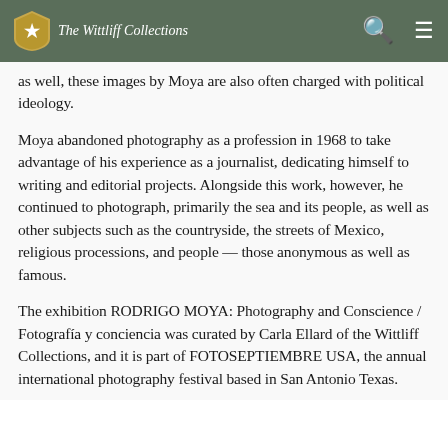The Wittliff Collections
as well, these images by Moya are also often charged with political ideology.
Moya abandoned photography as a profession in 1968 to take advantage of his experience as a journalist, dedicating himself to writing and editorial projects. Alongside this work, however, he continued to photograph, primarily the sea and its people, as well as other subjects such as the countryside, the streets of Mexico, religious processions, and people — those anonymous as well as famous.
The exhibition RODRIGO MOYA: Photography and Conscience / Fotografía y conciencia was curated by Carla Ellard of the Wittliff Collections, and it is part of FOTOSEPTIEMBRE USA, the annual international photography festival based in San Antonio Texas.